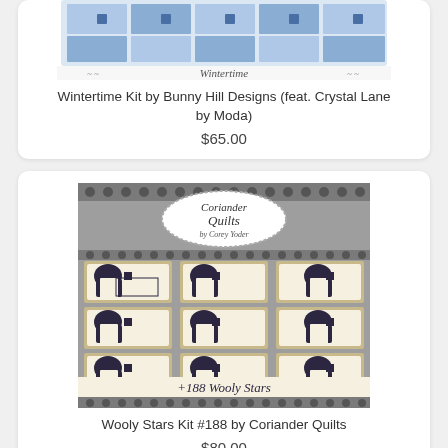[Figure (illustration): Wintertime quilt kit product image showing a blue and white quilt with a 'Wintertime' label and decorative accents]
Wintertime Kit by Bunny Hill Designs (feat. Crystal Lane by Moda)
$65.00
[Figure (illustration): Wooly Stars Kit #188 product image by Coriander Quilts showing a quilt pattern with 9 sheep blocks on a tan background with star quilting motifs]
Wooly Stars Kit #188 by Coriander Quilts
$80.00